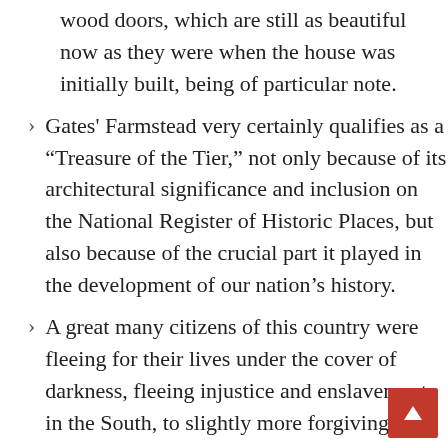wood doors, which are still as beautiful now as they were when the house was initially built, being of particular note.
Gates' Farmstead very certainly qualifies as a “Treasure of the Tier,” not only because of its architectural significance and inclusion on the National Register of Historic Places, but also because of the crucial part it played in the development of our nation’s history.
A great many citizens of this country were fleeing for their lives under the cover of darkness, fleeing injustice and enslavement in the South, to slightly more forgiving conditions in the North.